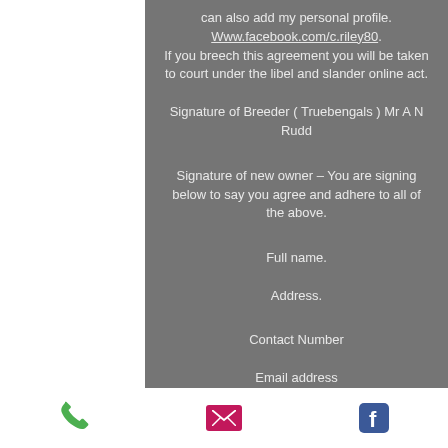can also add my personal profile. Www.facebook.com/c.riley80. If you breech this agreement you will be taken to court under the libel and slander online act.
Signature of Breeder ( Truebengals ) Mr A N Rudd
Signature of new owner – You are signing below to say you agree and adhere to all of the above.
Full name.
Address.
Contact Number
Email address
[Figure (infographic): Mobile phone footer bar with green phone icon, pink/magenta email envelope icon, and blue Facebook icon]